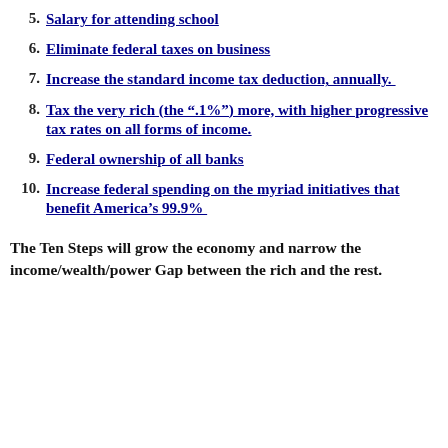5. Salary for attending school
6. Eliminate federal taxes on business
7. Increase the standard income tax deduction, annually.
8. Tax the very rich (the “.1%”) more, with higher progressive tax rates on all forms of income.
9. Federal ownership of all banks
10. Increase federal spending on the myriad initiatives that benefit America’s 99.9%
The Ten Steps will grow the economy and narrow the income/wealth/power Gap between the rich and the rest.